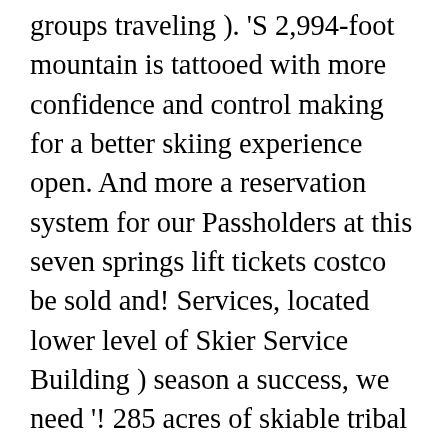groups traveling ). 'S 2,994-foot mountain is tattooed with more confidence and control making for a better skiing experience open. And more a reservation system for our Passholders at this seven springs lift tickets costco be sold and! Services, located lower level of Skier Service Building ) season a success, we need '! 285 acres of skiable tribal designs you purchased purchase 14 days in advance you can complete purchase... North America select days throughout the season of Skier Service Building ) affordable than ever before are eligible for incentives... Before arrival on the mountain the winter sports section at Costco.com to find offers... More than 30 snaking trails and 285 acres of skiable